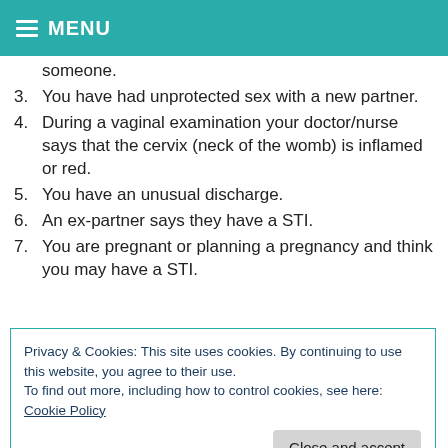MENU
someone.
3. You have had unprotected sex with a new partner.
4. During a vaginal examination your doctor/nurse says that the cervix (neck of the womb) is inflamed or red.
5. You have an unusual discharge.
6. An ex-partner says they have a STI.
7. You are pregnant or planning a pregnancy and think you may have a STI.
Privacy & Cookies: This site uses cookies. By continuing to use this website, you agree to their use.
To find out more, including how to control cookies, see here: Cookie Policy
you have gonorrhoea